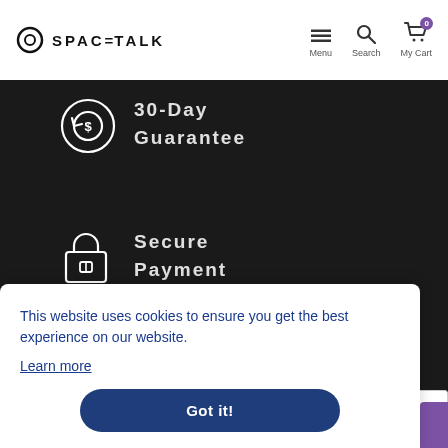SPACETALK — Menu, Search, My Cart
[Figure (illustration): White circular arrow icon with dollar sign — 30-Day Guarantee]
30-Day Guarantee
[Figure (illustration): White padlock icon — Secure Payment]
Secure Payment
[Figure (illustration): White return/warranty arrow icon — 12 Month Warranty]
12 Month Warranty
This website uses cookies to ensure you get the best experience on our website.
Learn more
Got it!